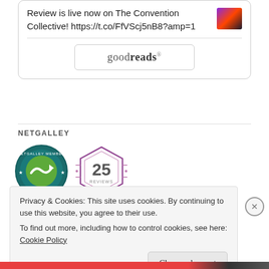Review is live now on The Convention Collective! https://t.co/FfVScj5nB8?amp=1
[Figure (logo): Goodreads button/logo in a rounded rectangle border]
NETGALLEY
[Figure (illustration): NetGalley Member circular badge with green arrow logo]
[Figure (illustration): 25 Reviews hexagon badge in purple/red outline]
Privacy & Cookies: This site uses cookies. By continuing to use this website, you agree to their use.
To find out more, including how to control cookies, see here: Cookie Policy
Close and accept